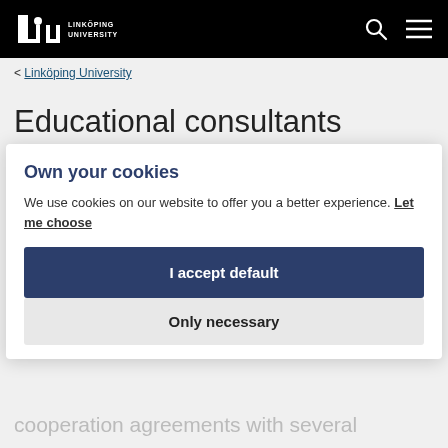Linköping University
< Linköping University
Educational consultants
Applying to an international master's programme is not hard and we can guide you through the steps. If you require more help to apply, it is possible to go through an education consultant or agent in your country. Linköping University has cooperation agreements with several
Own your cookies
We use cookies on our website to offer you a better experience. Let me choose
I accept default
Only necessary